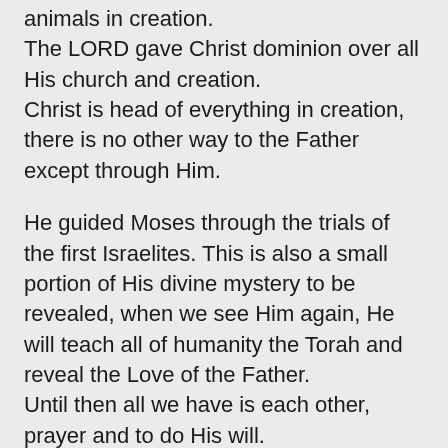animals in creation.
The LORD gave Christ dominion over all His church and creation.
Christ is head of everything in creation, there is no other way to the Father except through Him.
He guided Moses through the trials of the first Israelites. This is also a small portion of His divine mystery to be revealed, when we see Him again, He will teach all of humanity the Torah and reveal the Love of the Father.
Until then all we have is each other, prayer and to do His will.
The churches should gather on the